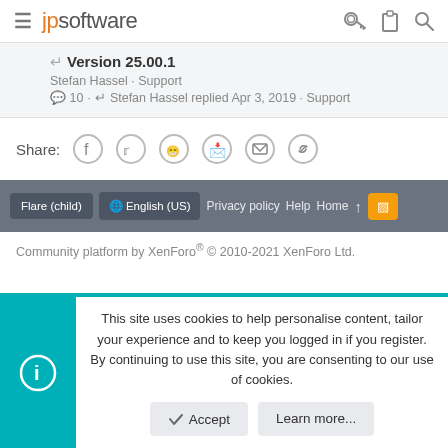jpsoftware — navigation header with hamburger menu and icons
Version 25.00.1
Stefan Hassel · Support
10 · Stefan Hassel replied Apr 3, 2019 · Support
Share:
Flare (child)  English (US)  Privacy policy  Help  Home  ↑  RSS
Community platform by XenForo® © 2010-2021 XenForo Ltd.
This site uses cookies to help personalise content, tailor your experience and to keep you logged in if you register.
By continuing to use this site, you are consenting to our use of cookies.
Accept  Learn more...